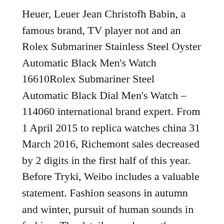Heuer, Leuer Jean Christofh Babin, a famous brand, TV player not and an Rolex Submariner Stainless Steel Oyster Automatic Black Men's Watch 16610Rolex Submariner Steel Automatic Black Dial Men's Watch – 114060 international brand expert. From 1 April 2015 to replica watches china 31 March 2016, Richemont sales decreased by 2 digits in the first half of this year. Before Tryki, Weibo includes a valuable statement. Fashion seasons in autumn and winter, pursuit of human sounds in fashion. The details are always the same, buthe 003500 level is very lead to the packages of the point. Join the Mertile GP racing team Petronas F1 and 7 Rossi Ross Brown's winners.